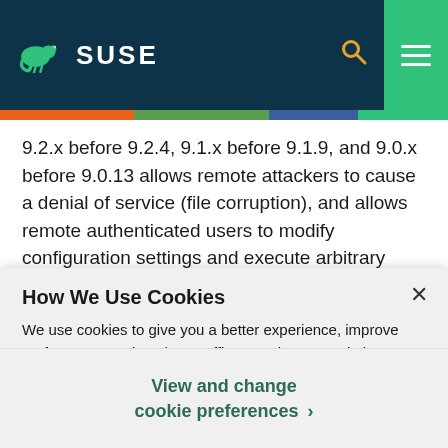SUSE
9.2.x before 9.2.4, 9.1.x before 9.1.9, and 9.0.x before 9.0.13 allows remote attackers to cause a denial of service (file corruption), and allows remote authenticated users to modify configuration settings and execute arbitrary code, via a connection request using a
How We Use Cookies
We use cookies to give you a better experience, improve performance and analyze traffic. By using our website you agree to our use of cookies.
View and change cookie preferences ›